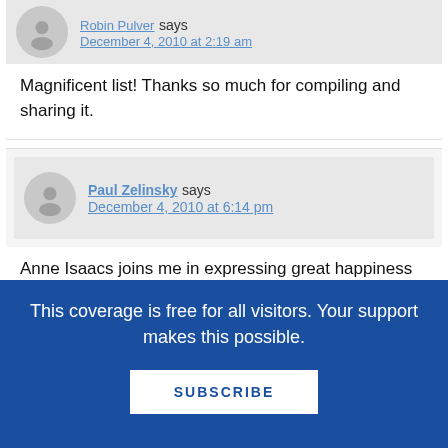[Figure (other): User avatar silhouette icon (gray circle) for first commenter]
Robin Pulver says
December 4, 2010 at 2:19 am
Magnificent list! Thanks so much for compiling and sharing it.
[Figure (other): User avatar silhouette icon (gray circle) for Paul Zelinsky]
Paul Zelinsky says
December 4, 2010 at 6:14 pm
Anne Isaacs joins me in expressing great happiness at being on your list of magnificence. I assume she does; I haven't actually asked her.
This coverage is free for all visitors. Your support makes this possible.
SUBSCRIBE